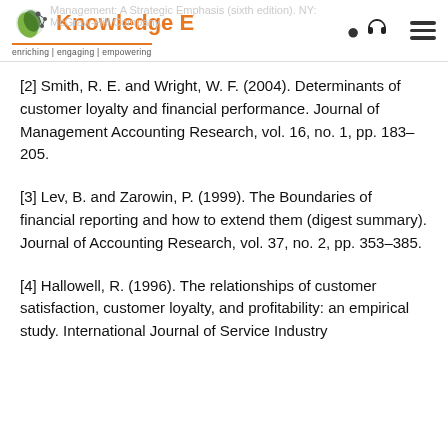Management: A Strategic Emphasis (sixth edition). NY: McGraw-Hill Company. — KnowledgeE
[2] Smith, R. E. and Wright, W. F. (2004). Determinants of customer loyalty and financial performance. Journal of Management Accounting Research, vol. 16, no. 1, pp. 183–205.
[3] Lev, B. and Zarowin, P. (1999). The Boundaries of financial reporting and how to extend them (digest summary). Journal of Accounting Research, vol. 37, no. 2, pp. 353–385.
[4] Hallowell, R. (1996). The relationships of customer satisfaction, customer loyalty, and profitability: an empirical study. International Journal of Service Industry